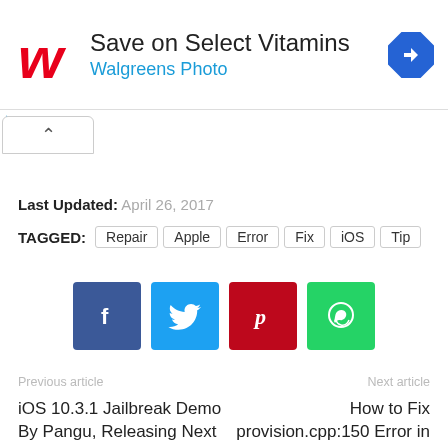[Figure (other): Walgreens advertisement banner with logo, 'Save on Select Vitamins' heading, 'Walgreens Photo' subtitle, and navigation arrow icon]
Last Updated: April 26, 2017
TAGGED: Repair Apple Error Fix iOS Tip
[Figure (other): Social share buttons: Facebook (blue), Twitter (light blue), Pinterest (red), WhatsApp (green)]
Previous article
Next article
iOS 10.3.1 Jailbreak Demo By Pangu, Releasing Next Week?
How to Fix provision.cpp:150 Error in Cydia Impactor